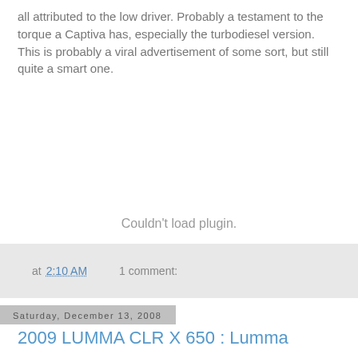all attributed to the low driver. Probably a testament to the torque a Captiva has, especially the turbodiesel version. This is probably a viral advertisement of some sort, but still quite a smart one.
[Figure (other): Couldn't load plugin. placeholder area for embedded video or media plugin.]
at 2:10 AM    1 comment:
Saturday, December 13, 2008
2009 LUMMA CLR X 650 : Lumma